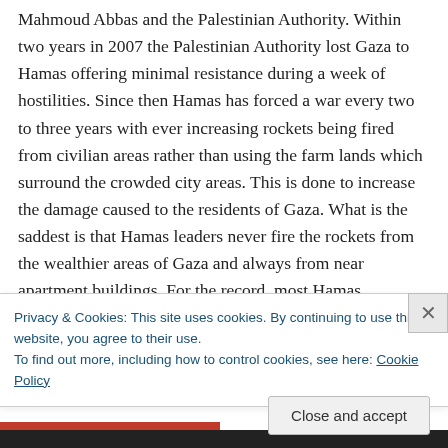Mahmoud Abbas and the Palestinian Authority. Within two years in 2007 the Palestinian Authority lost Gaza to Hamas offering minimal resistance during a week of hostilities. Since then Hamas has forced a war every two to three years with ever increasing rockets being fired from civilian areas rather than using the farm lands which surround the crowded city areas. This is done to increase the damage caused to the residents of Gaza. What is the saddest is that Hamas leaders never fire the rockets from the wealthier areas of Gaza and always from near apartment buildings. For the record, most Hamas
Privacy & Cookies: This site uses cookies. By continuing to use this website, you agree to their use.
To find out more, including how to control cookies, see here: Cookie Policy
Close and accept